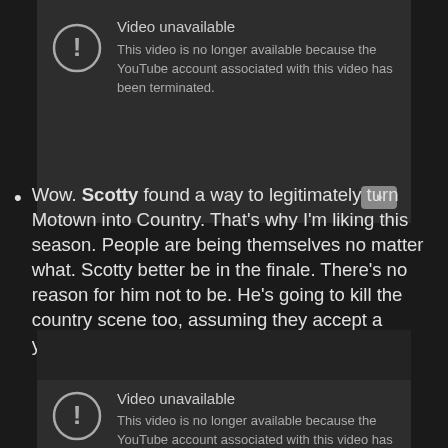[Figure (screenshot): YouTube video unavailable embed showing error icon and message: 'Video unavailable. This video is no longer available because the YouTube account associated with this video has been terminated.']
Wow. Scotty found a way to legitimately turn Motown into Country. That's why I'm liking this season. People are being themselves no matter what. Scotty better be in the finale. There's no reason for him not to be. He's going to kill the country scene too, assuming they accept a youngin'.
[Figure (screenshot): Second YouTube video unavailable embed showing same error: 'Video unavailable. This video is no longer available because the YouTube account associated with this video has been terminated.']